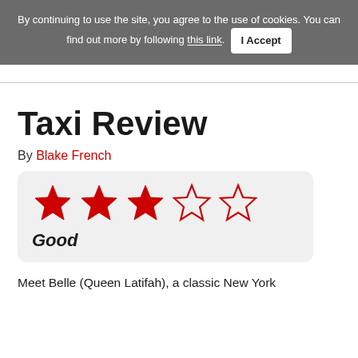By continuing to use the site, you agree to the use of cookies. You can find out more by following this link.  I Accept
Taxi Review
By Blake French
[Figure (other): Star rating showing 3 out of 5 filled red stars and 2 empty stars, with label 'Good' below]
Meet Belle (Queen Latifah), a classic New York